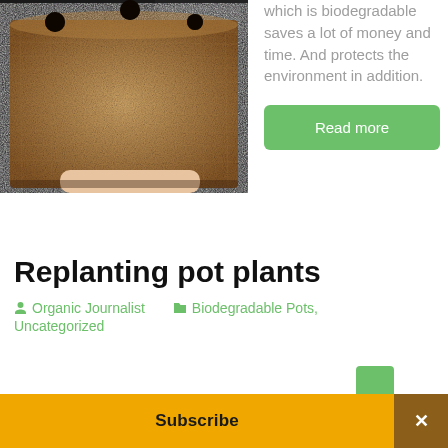[Figure (photo): Close-up photo of a square coir/fiber biodegradable plant pot with drainage holes on top, sitting against a dark background]
which is biodegradable saves a lot of money and time. And protects the environment in addition.
Read more
Replanting pot plants
Organic Journalist   Biodegradable Pots, Uncategorized
Subscribe  ×